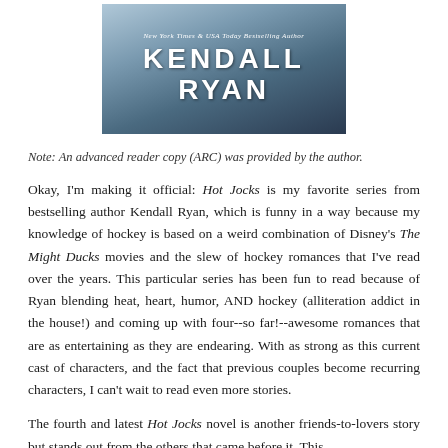[Figure (illustration): Book cover showing 'KENDALL RYAN' in large white letters with subtitle 'New York Times & USA Today Bestselling Author', dark blue-grey gradient background with partial figure visible]
Note: An advanced reader copy (ARC) was provided by the author.
Okay, I'm making it official: Hot Jocks is my favorite series from bestselling author Kendall Ryan, which is funny in a way because my knowledge of hockey is based on a weird combination of Disney's The Might Ducks movies and the slew of hockey romances that I've read over the years. This particular series has been fun to read because of Ryan blending heat, heart, humor, AND hockey (alliteration addict in the house!) and coming up with four--so far!--awesome romances that are as entertaining as they are endearing. With as strong as this current cast of characters, and the fact that previous couples become recurring characters, I can't wait to read even more stories.
The fourth and latest Hot Jocks novel is another friends-to-lovers story but stands out from the others that came before it. This